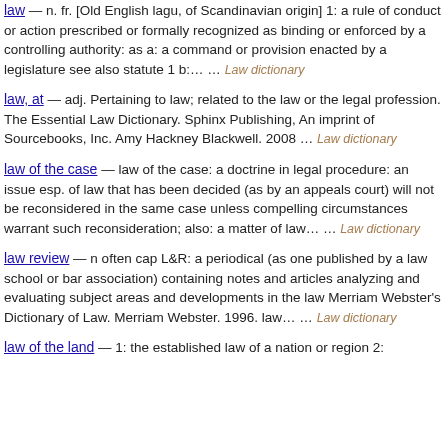law — n. fr. [Old English lagu, of Scandinavian origin] 1: a rule of conduct or action prescribed or formally recognized as binding or enforced by a controlling authority: as a: a command or provision enacted by a legislature see also statute 1 b:… … Law dictionary
law, at — adj. Pertaining to law; related to the law or the legal profession. The Essential Law Dictionary. Sphinx Publishing, An imprint of Sourcebooks, Inc. Amy Hackney Blackwell. 2008 … Law dictionary
law of the case — law of the case: a doctrine in legal procedure: an issue esp. of law that has been decided (as by an appeals court) will not be reconsidered in the same case unless compelling circumstances warrant such reconsideration; also: a matter of law… … Law dictionary
law review — n often cap L&R: a periodical (as one published by a law school or bar association) containing notes and articles analyzing and evaluating subject areas and developments in the law Merriam Webster's Dictionary of Law. Merriam Webster. 1996. law… … Law dictionary
law of the land — 1: the established law of a nation or region 2: